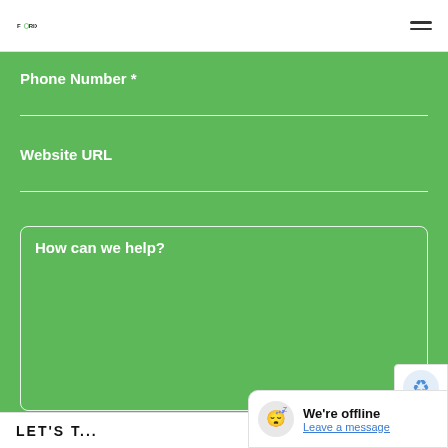FORIX
Phone Number *
Website URL
How can we help?
LET'S T...
We're offline
Leave a message